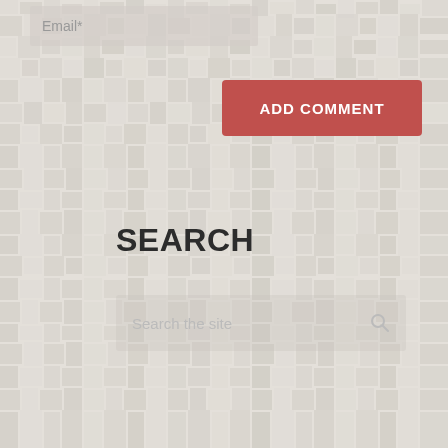[Figure (screenshot): Mosaic tile background pattern in beige and light gray tones covering the entire page]
Email*
ADD COMMENT
SEARCH
Search the site